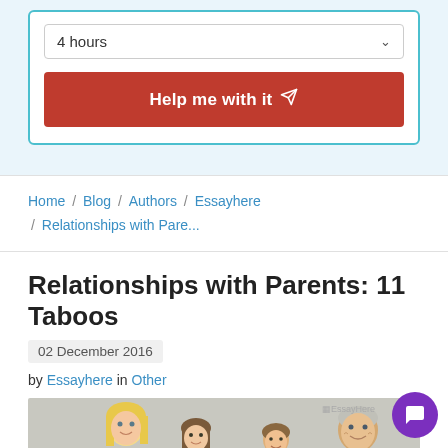[Figure (screenshot): Dropdown selector showing '4 hours' with a chevron arrow, inside a form box with teal border]
[Figure (screenshot): Red button labeled 'Help me with it' with a paper airplane icon]
Home / Blog / Authors / Essayhere / Relationships with Pare...
Relationships with Parents: 11 Taboos
02 December 2016
by Essayhere in Other
[Figure (photo): Family photo showing a woman with blonde hair, a teenage girl, a young boy, and an older man, all smiling against a light background. EssayHere watermark in top right.]